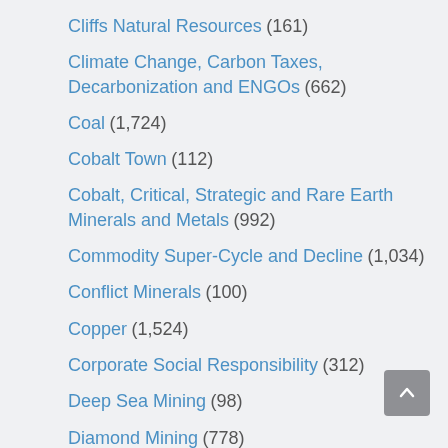Cliffs Natural Resources (161)
Climate Change, Carbon Taxes, Decarbonization and ENGOs (662)
Coal (1,724)
Cobalt Town (112)
Cobalt, Critical, Strategic and Rare Earth Minerals and Metals (992)
Commodity Super-Cycle and Decline (1,034)
Conflict Minerals (100)
Copper (1,524)
Corporate Social Responsibility (312)
Deep Sea Mining (98)
Diamond Mining (778)